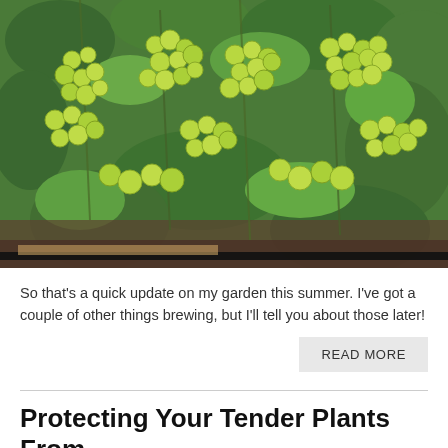[Figure (photo): Photo of green cherry tomatoes growing in clusters on vines in a garden bed]
So that's a quick update on my garden this summer. I've got a couple of other things brewing, but I'll tell you about those later!
READ MORE
Protecting Your Tender Plants From A Spring Freeze